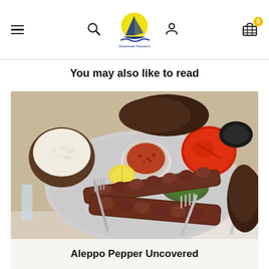Seasoned Pioneers navigation header with menu, search, logo, user, and basket icons
You may also like to read
[Figure (photo): A plate of kebab skewers on a large silver plate with grilled tomato, grilled pepper, a bowl of salsa/sauce, lemon wedge, and a side bowl of white rice. Two hands are visible cutting the food.]
Aleppo Pepper Uncovered